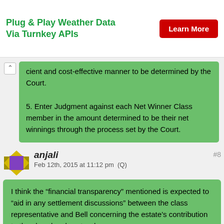[Figure (other): Advertisement banner for 'Plug & Play Weather Data Via Turnkey APIs' with a red 'Learn More' button]
cient and cost-effective manner to be determined by the Court.
5. Enter Judgment against each Net Winner Class member in the amount determined to be their net winnings through the process set by the Court.
anjali #8 Feb 12th, 2015 at 11:12 pm (Q)
I think the “financial transparency” mentioned is expected to “aid in any settlement discussions” between the class representative and Bell concerning the estate’s contribution to the class legal costs—hoss
read again carefully. if the court meant that financial transparency would help in ‘settling’ the estates contribution to